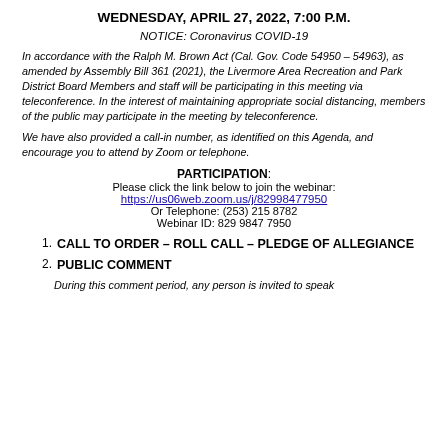WEDNESDAY, APRIL 27, 2022, 7:00 P.M.
NOTICE: Coronavirus COVID-19
In accordance with the Ralph M. Brown Act (Cal. Gov. Code 54950 – 54963), as amended by Assembly Bill 361 (2021), the Livermore Area Recreation and Park District Board Members and staff will be participating in this meeting via teleconference. In the interest of maintaining appropriate social distancing, members of the public may participate in the meeting by teleconference.
We have also provided a call-in number, as identified on this Agenda, and encourage you to attend by Zoom or telephone.
PARTICIPATION: Please click the link below to join the webinar: https://us06web.zoom.us/j/82998477950 Or Telephone: (253) 215 8782 Webinar ID: 829 9847 7950
1. CALL TO ORDER – ROLL CALL – PLEDGE OF ALLEGIANCE
2. PUBLIC COMMENT
During this comment period, any person is invited to speak